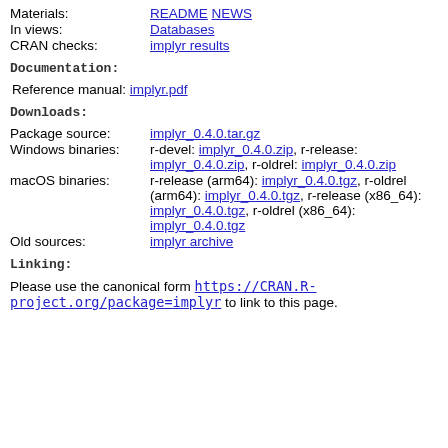Materials: README NEWS
In views: Databases
CRAN checks: implyr results
Documentation:
Reference manual: implyr.pdf
Downloads:
Package source: implyr_0.4.0.tar.gz
Windows binaries: r-devel: implyr_0.4.0.zip, r-release: implyr_0.4.0.zip, r-oldrel: implyr_0.4.0.zip
macOS binaries: r-release (arm64): implyr_0.4.0.tgz, r-oldrel (arm64): implyr_0.4.0.tgz, r-release (x86_64): implyr_0.4.0.tgz, r-oldrel (x86_64): implyr_0.4.0.tgz
Old sources: implyr archive
Linking:
Please use the canonical form https://CRAN.R-project.org/package=implyr to link to this page.